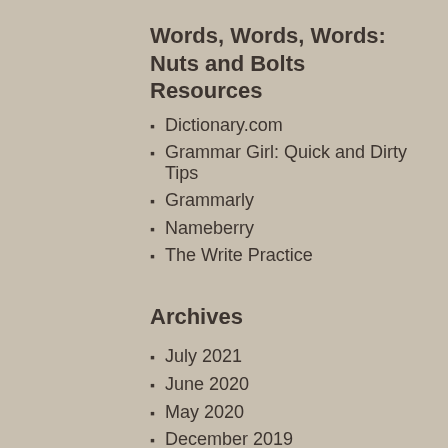Words, Words, Words: Nuts and Bolts Resources
Dictionary.com
Grammar Girl: Quick and Dirty Tips
Grammarly
Nameberry
The Write Practice
Archives
July 2021
June 2020
May 2020
December 2019
November 2019
September 2018
June 2018
February 2018